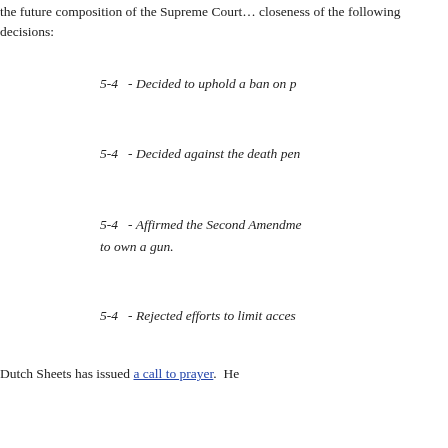the future composition of the Supreme Court... closeness of the following decisions:
5-4   - Decided to uphold a ban on p
5-4   - Decided against the death pen
5-4   - Affirmed the Second Amendme... to own a gun.
5-4   - Rejected efforts to limit acces
Dutch Sheets has issued a call to prayer.  He
The next president of the United Stat... Justices in his first term.  If he serves... of the 9 on the Court 70 years old or... and younger Justices, the next presid... next 30-40 years!  This means we are
Continue reading "THE PRESIDENTIAL E...
»
Wednesday, 29 October 2008 in Judges and courts,
MONDAY, 27 OCTOBER 2008
GUESS WHAT? SARAH PALIN IS SMA